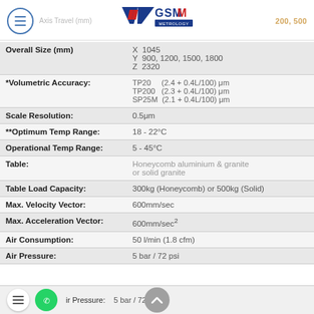VGSM Metrology - CMM Specifications
| Parameter | Value |
| --- | --- |
| Overall Size (mm) | X  1045
Y  900, 1200, 1500, 1800
Z  2320 |
| *Volumetric Accuracy: | TP20     (2.4 + 0.4L/100) μm
TP200   (2.3 + 0.4L/100) μm
SP25M  (2.1 + 0.4L/100) μm |
| Scale Resolution: | 0.5μm |
| **Optimum Temp Range: | 18 - 22°C |
| Operational Temp Range: | 5 - 45°C |
| Table: | Honeycomb aluminium & granite or solid granite |
| Table Load Capacity: | 300kg (Honeycomb) or 500kg (Solid) |
| Max. Velocity Vector: | 600mm/sec |
| Max. Acceleration Vector: | 600mm/sec² |
| Air Consumption: | 50 l/min (1.8 cfm) |
| Air Pressure: | 5 bar / 72 psi |